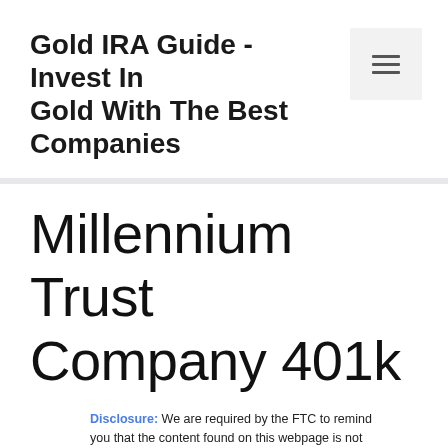Gold IRA Guide - Invest In Gold With The Best Companies
Millennium Trust Company 401k
Disclosure: We are required by the FTC to remind you that the content found on this webpage is not financial advice and should not be taken as such. Always do your own research and consult a financial